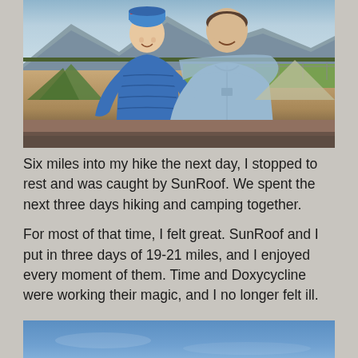[Figure (photo): Two people smiling and posing together outdoors at a campsite. A woman on the left wearing a blue puffy jacket and colorful knit hat, a man on the right in a light blue button-up shirt. Mountains and tents visible in the background.]
Six miles into my hike the next day, I stopped to rest and was caught by SunRoof.  We spent the next three days hiking and camping together.
For most of that time, I felt great.  SunRoof and I put in three days of 19-21 miles, and I enjoyed every moment of them.  Time and Doxycycline were working their magic, and I no longer felt ill.
[Figure (photo): Partial photo showing a blue sky, bottom portion of image visible only.]